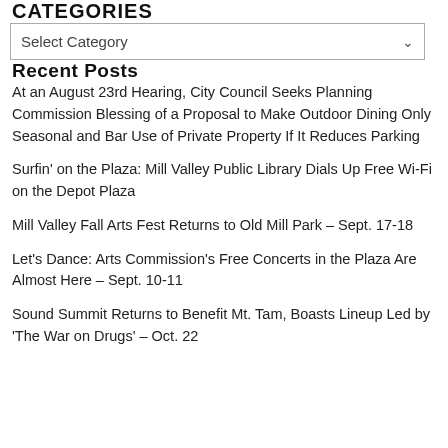CATEGORIES
Select Category
Recent Posts
At an August 23rd Hearing, City Council Seeks Planning Commission Blessing of a Proposal to Make Outdoor Dining Only Seasonal and Bar Use of Private Property If It Reduces Parking
Surfin' on the Plaza: Mill Valley Public Library Dials Up Free Wi-Fi on the Depot Plaza
Mill Valley Fall Arts Fest Returns to Old Mill Park – Sept. 17-18
Let's Dance: Arts Commission's Free Concerts in the Plaza Are Almost Here – Sept. 10-11
Sound Summit Returns to Benefit Mt. Tam, Boasts Lineup Led by 'The War on Drugs' – Oct. 22